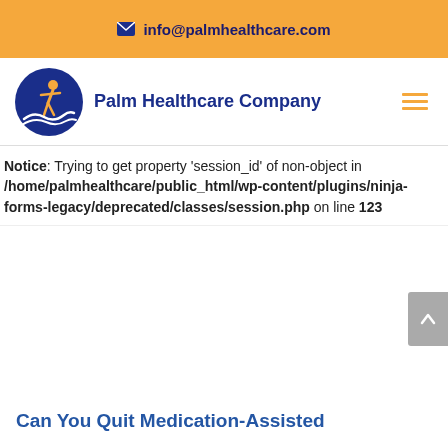✉ info@palmhealthcare.com
[Figure (logo): Palm Healthcare Company logo — blue circle with orange person figure and wave, beside company name text]
Notice: Trying to get property 'session_id' of non-object in /home/palmhealthcare/public_html/wp-content/plugins/ninja-forms-legacy/deprecated/classes/session.php on line 123
Can You Quit Medication-Assisted